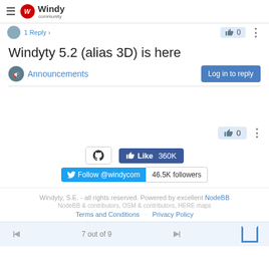Windy community
1 Reply
Windyty 5.2 (alias 3D) is here
Announcements
Log in to reply
0
Like 360K
Follow @windycom  46.5K followers
Windyty, S.E. - all rights reserved. Powered by excellent NodeBB
NodeBB & contributors, OSM & contributors, HERE maps
Terms and Conditions  Privacy Policy
7 out of 9